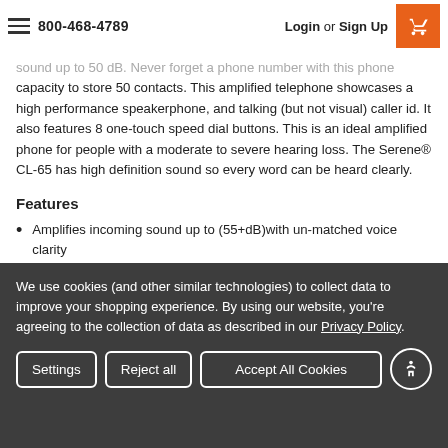800-468-4789  Login or Sign Up
sound up to 50 dB. Never forget a phone number with this phone capacity to store 50 contacts. This amplified telephone showcases a high performance speakerphone, and talking (but not visual) caller id. It also features 8 one-touch speed dial buttons. This is an ideal amplified phone for people with a moderate to severe hearing loss. The Serene® CL-65 has high definition sound so every word can be heard clearly.
Features
Amplifies incoming sound up to (55+dB)with un-matched voice clarity
HDS (Hi-Definition Sound) technology makes every word crisp and
We use cookies (and other similar technologies) to collect data to improve your shopping experience. By using our website, you're agreeing to the collection of data as described in our Privacy Policy.
Settings  Reject all  Accept All Cookies